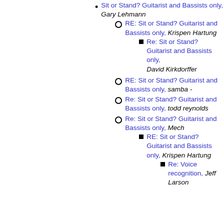Sit or Stand? Guitarist and Bassists only, Gary Lehmann
RE: Sit or Stand? Guitarist and Bassists only, Krispen Hartung
Re: Sit or Stand? Guitarist and Bassists only, David Kirkdorffer
RE: Sit or Stand? Guitarist and Bassists only, samba -
Re: Sit or Stand? Guitarist and Bassists only, todd reynolds
Re: Sit or Stand? Guitarist and Bassists only, Mech
RE: Sit or Stand? Guitarist and Bassists only, Krispen Hartung
Re: Voice recognition, Jeff Larson